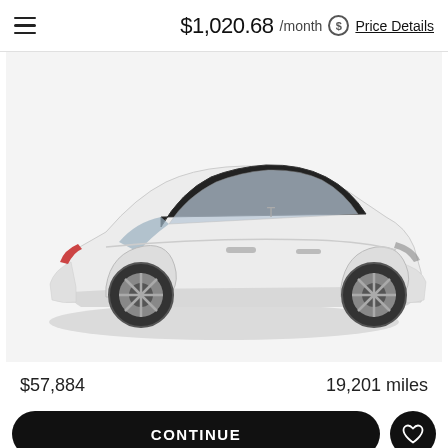$1,020.68 /month Price Details
[Figure (photo): White Tesla Model 3 sedan shown from a front three-quarter angle on a white background]
$57,884
19,201 miles
1 of 15
CONTINUE